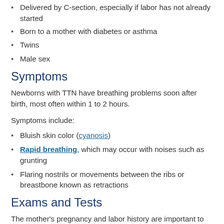Delivered by C-section, especially if labor has not already started
Born to a mother with diabetes or asthma
Twins
Male sex
Symptoms
Newborns with TTN have breathing problems soon after birth, most often within 1 to 2 hours.
Symptoms include:
Bluish skin color (cyanosis)
Rapid breathing, which may occur with noises such as grunting
Flaring nostrils or movements between the ribs or breastbone known as retractions
Exams and Tests
The mother's pregnancy and labor history are important to make the diagnosis.
Tests performed on the baby may include: